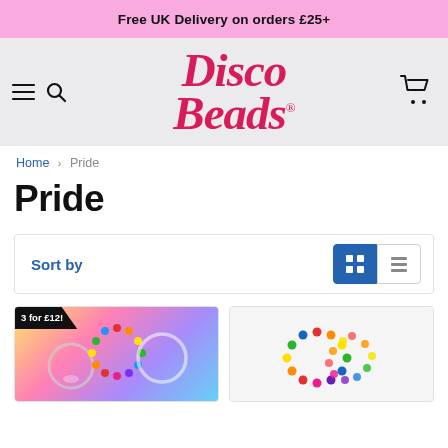Free UK Delivery on orders £25+
[Figure (logo): Disco Beads logo in red italic font with hamburger menu, search icon left and cart icon right, on grey background]
Home › Pride
Pride
Sort by
[Figure (photo): Product image: Rainbow bead rings with '3 for £12!' badge on rainbow background]
[Figure (photo): Product image: Rainbow beaded bracelets on white/grey background]